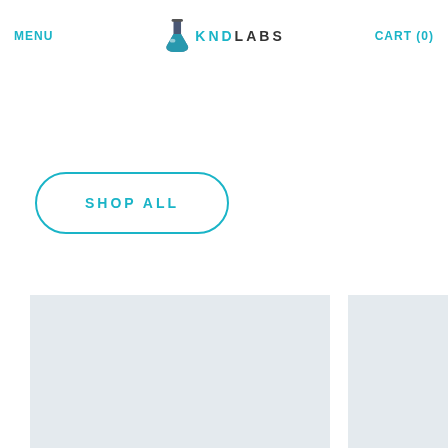MENU | KND LABS | CART (0)
looking for by featuring collections on the homepage.
SHOP ALL
[Figure (photo): Product image placeholder - light gray rectangle]
[Figure (photo): Product image placeholder - light gray rectangle (partial, right side)]